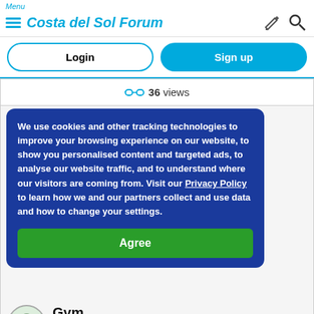Menu — Costa del Sol Forum
Login | Sign up
36 views
We use cookies and other tracking technologies to improve your browsing experience on our website, to show you personalised content and targeted ads, to analyse our website traffic, and to understand where our visitors are coming from. Visit our Privacy Policy to learn how we and our partners collect and use data and how to change your settings.
Agree
Gym
Posted Sun Jul 10, 2022 2:09pm
In Mijas Costa
2 replies